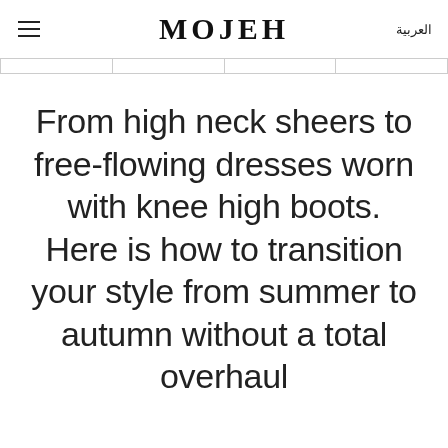MOJEH | العربية
From high neck sheers to free-flowing dresses worn with knee high boots. Here is how to transition your style from summer to autumn without a total overhaul